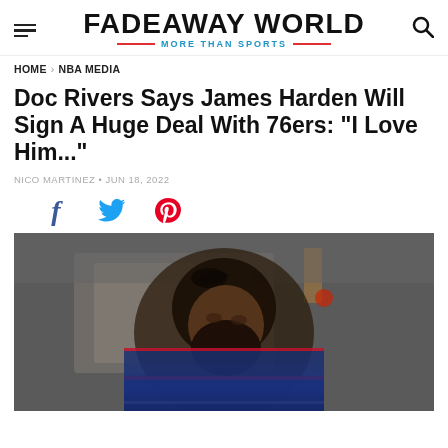FADEAWAY WORLD — MORE THAN SPORTS
HOME > NBA MEDIA
Doc Rivers Says James Harden Will Sign A Huge Deal With 76ers: "I Love Him..."
NICO MARTINEZ · JUN 18, 2022
[Figure (other): Social share icons: Facebook, Twitter, Pinterest]
[Figure (photo): James Harden in a Philadelphia 76ers jersey, looking to the side, with a basketball court background]